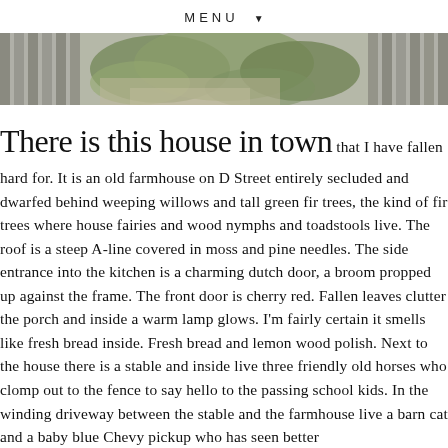MENU ▼
[Figure (photo): A banner photograph showing a garden/driveway scene with lush green hedges, gravel path, and wooden fence slats on the left and right edges.]
There is this house in town that I have fallen hard for. It is an old farmhouse on D Street entirely secluded and dwarfed behind weeping willows and tall green fir trees, the kind of fir trees where house fairies and wood nymphs and toadstools live. The roof is a steep A-line covered in moss and pine needles. The side entrance into the kitchen is a charming dutch door, a broom propped up against the frame. The front door is cherry red. Fallen leaves clutter the porch and inside a warm lamp glows. I'm fairly certain it smells like fresh bread inside. Fresh bread and lemon wood polish. Next to the house there is a stable and inside live three friendly old horses who clomp out to the fence to say hello to the passing school kids. In the winding driveway between the stable and the farmhouse live a barn cat and a baby blue Chevy pickup who has seen better